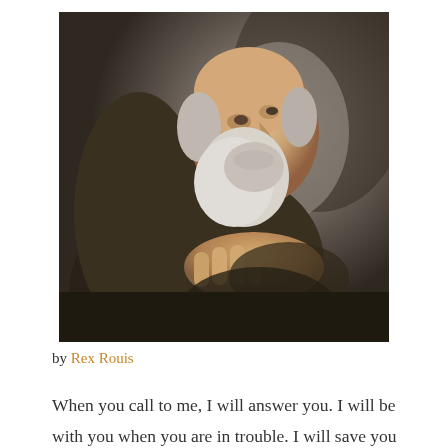[Figure (photo): Oil painting of an elderly bearded man looking upward to the right, with one hand placed on his chest. The figure has a bald head with gray hair on the sides, a white beard, and is draped in a dark cloak. The painting style is Baroque, with dramatic chiaroscuro lighting.]
by Rex Rouis
When you call to me, I will answer you. I will be with you when you are in trouble. I will save you